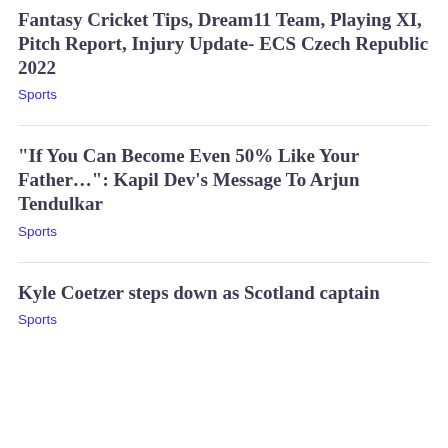Fantasy Cricket Tips, Dream11 Team, Playing XI, Pitch Report, Injury Update- ECS Czech Republic 2022
Sports
“If You Can Become Even 50% Like Your Father…”: Kapil Dev’s Message To Arjun Tendulkar
Sports
Kyle Coetzer steps down as Scotland captain
Sports